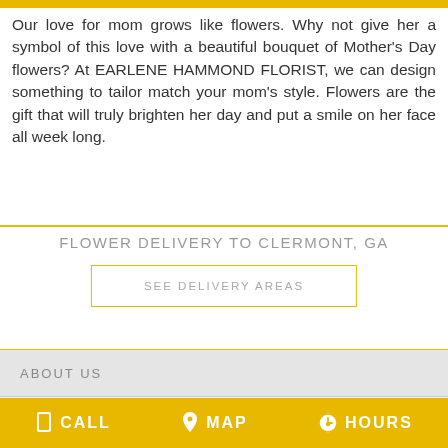[Figure (other): Gold/yellow horizontal bar at the top of the page]
Our love for mom grows like flowers. Why not give her a symbol of this love with a beautiful bouquet of Mother's Day flowers? At EARLENE HAMMOND FLORIST, we can design something to tailor match your mom's style. Flowers are the gift that will truly brighten her day and put a smile on her face all week long.
FLOWER DELIVERY TO CLERMONT, GA
SEE DELIVERY AREAS
ABOUT US
REVIEWS
CALL   MAP   HOURS